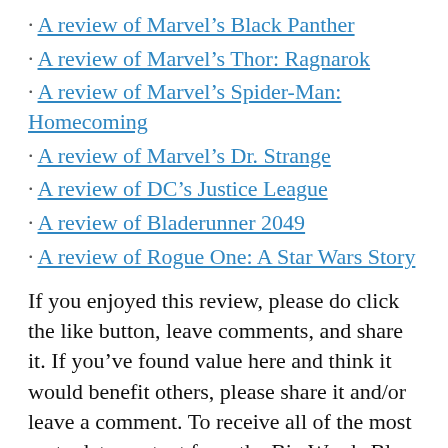A review of Marvel's Black Panther
A review of Marvel's Thor: Ragnarok
A review of Marvel's Spider-Man: Homecoming
A review of Marvel's Dr. Strange
A review of DC's Justice League
A review of Bladerunner 2049
A review of Rogue One: A Star Wars Story
If you enjoyed this review, please do click the like button, leave comments, and share it. If you’ve found value here and think it would benefit others, please share it and/or leave a comment. To receive all of the most up to date content from the Big Words Blog Site, subscribe using the subscription box in the